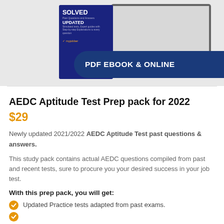[Figure (photo): Product banner showing a dark blue book with SOLVED and UPDATED text, a laptop, and a blue ribbon banner reading PDF EBOOK & ONLINE]
AEDC Aptitude Test Prep pack for 2022
$29
Newly updated 2021/2022 AEDC Aptitude Test past questions & answers.
This study pack contains actual AEDC questions compiled from past and recent tests, sure to procure you your desired success in your job test.
With this prep pack, you will get:
Updated Practice tests adapted from past exams.